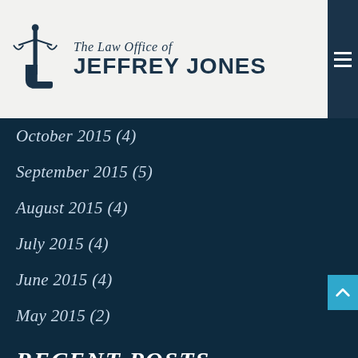[Figure (logo): The Law Office of Jeffrey Jones logo with boot icon]
October 2015 (4)
September 2015 (5)
August 2015 (4)
July 2015 (4)
June 2015 (4)
May 2015 (2)
RECENT POSTS
Do you need to file an accident report?
What constitutes indecent exposure, and how is it punished?